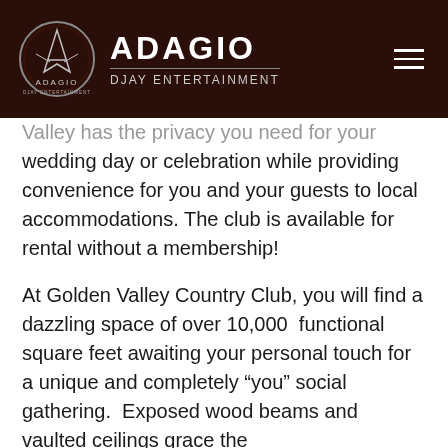[Figure (logo): Adagio Djay Entertainment logo with circular emblem containing a stylized 'A' over a dark red background, and text 'ADAGIO' in bold white with 'DJAY ENTERTAINMENT' below in lighter text]
Valley has the privacy you need for your wedding day or celebration while providing convenience for you and your guests to local accommodations. The club is available for rental without a membership!
At Golden Valley Country Club, you will find a dazzling space of over 10,000  functional square feet awaiting your personal touch for a unique and completely “you” social gathering.  Exposed wood beams and vaulted ceilings grace the